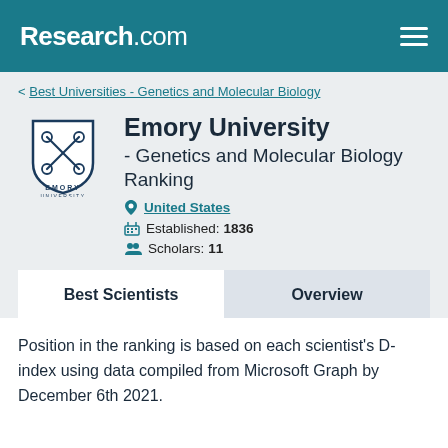Research.com
< Best Universities - Genetics and Molecular Biology
[Figure (logo): Emory University shield logo with crossed lacrosse sticks, EMORY UNIVERSITY text below]
Emory University - Genetics and Molecular Biology Ranking
United States
Established: 1836
Scholars: 11
Best Scientists
Overview
Position in the ranking is based on each scientist's D-index using data compiled from Microsoft Graph by December 6th 2021.